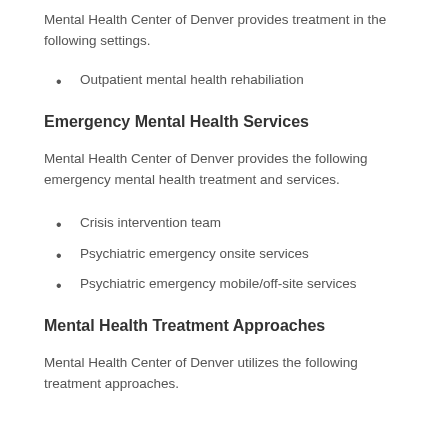Mental Health Center of Denver provides treatment in the following settings.
Outpatient mental health rehabiliation
Emergency Mental Health Services
Mental Health Center of Denver provides the following emergency mental health treatment and services.
Crisis intervention team
Psychiatric emergency onsite services
Psychiatric emergency mobile/off-site services
Mental Health Treatment Approaches
Mental Health Center of Denver utilizes the following treatment approaches.